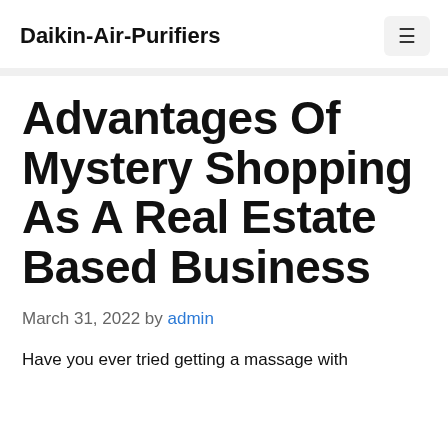Daikin-Air-Purifiers
Advantages Of Mystery Shopping As A Real Estate Based Business
March 31, 2022 by admin
Have you ever tried getting a massage with